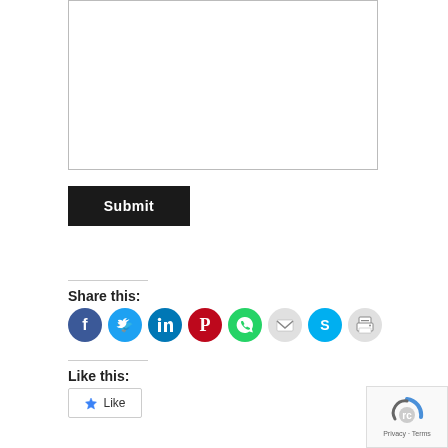[Figure (screenshot): Text area input box (empty, with resize handle)]
Submit
Share this:
[Figure (infographic): Row of social sharing icon buttons: Facebook (dark blue), Twitter (light blue), LinkedIn (dark blue), Pinterest (red), WhatsApp (green), Email (light gray), Skype (light blue), Print (light gray)]
Like this:
[Figure (screenshot): Like button with star icon and 'Like' text]
[Figure (screenshot): reCAPTCHA widget with Privacy and Terms links]